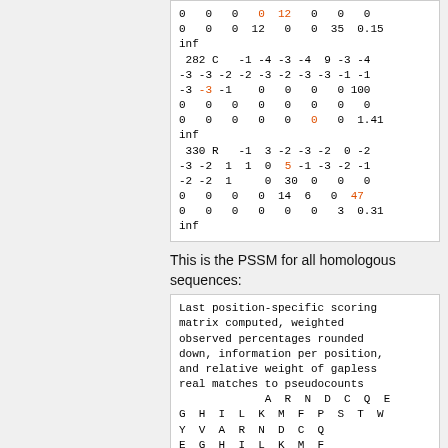0   0   0   0   12  0   0   0
0   0   0  12   0   0  35  0.15
inf
 282 C   -1 -4 -3 -4  9 -3 -4
-3 -3 -2 -2 -3 -2 -3 -3 -1 -1
-3 -3 -1    0   0   0   0 100
0   0   0   0   0   0   0   0
0   0   0   0   0   0   0  1.41
inf
 330 R   -1  3 -2 -3 -2  0 -2
-3 -2  1  1  0  5 -1 -3 -2 -1
-2 -2  1     0  30  0   0   0
0   0   0   0  14  6   0  47
0   0   0   0   0   0   3  0.31
inf
This is the PSSM for all homologous sequences:
Last position-specific scoring
matrix computed, weighted
observed percentages rounded
down, information per position,
and relative weight of gapless
real matches to pseudocounts
             A  R  N  D  C  Q  E
G  H  I  L  K  M  F  P  S  T  W
Y  V  A  R  N  D  C  Q
E  G  H  I  L  K  M  F
P  S  T  W  Y  V